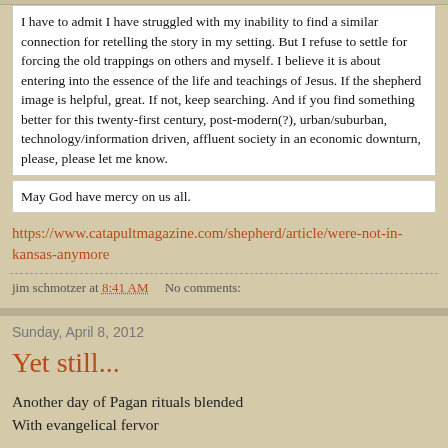I have to admit I have struggled with my inability to find a similar connection for retelling the story in my setting. But I refuse to settle for forcing the old trappings on others and myself. I believe it is about entering into the essence of the life and teachings of Jesus. If the shepherd image is helpful, great. If not, keep searching. And if you find something better for this twenty-first century, post-modern(?), urban/suburban, technology/information driven, affluent society in an economic downturn, please, please let me know.
May God have mercy on us all.
https://www.catapultmagazine.com/shepherd/article/were-not-in-kansas-anymore
jim schmotzer at 8:41 AM   No comments:
Sunday, April 8, 2012
Yet still...
Another day of Pagan rituals blended
With evangelical fervor